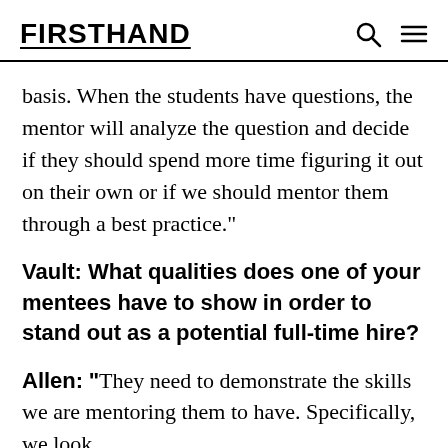FIRSTHAND
basis. When the students have questions, the mentor will analyze the question and decide if they should spend more time figuring it out on their own or if we should mentor them through a best practice."
Vault: What qualities does one of your mentees have to show in order to stand out as a potential full-time hire?
Allen: "They need to demonstrate the skills we are mentoring them to have. Specifically, we look